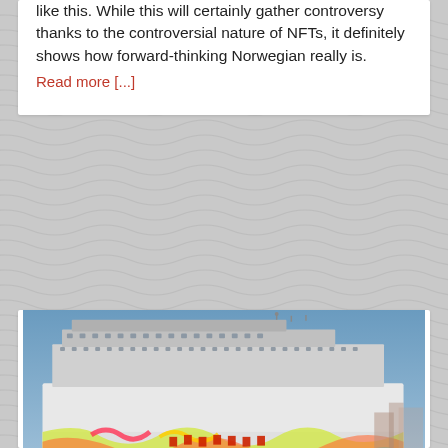like this. While this will certainly gather controversy thanks to the controversial nature of NFTs, it definitely shows how forward-thinking Norwegian really is.
Read more [...]
[Figure (photo): A large Norwegian Cruise Line ship docked in a harbor, with colorful artwork painted on its hull, blue sky in the background and sailboats in the foreground water.]
The Best Norwegian Cruise Line Cruise Ships